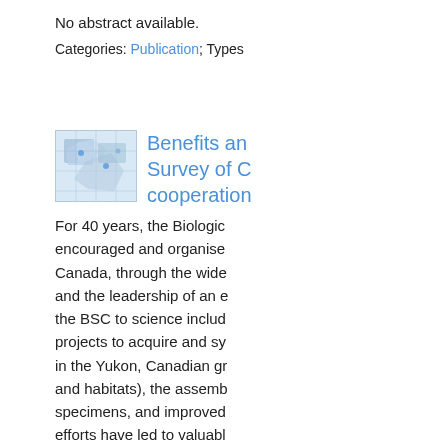No abstract available.
Categories: Publication; Types
[Figure (illustration): Thumbnail image showing a map/geographic illustration with blue tones]
Benefits an... Survey of C... cooperation
For 40 years, the Biologic... encouraged and organise... Canada, through the wide... and the leadership of an e... the BSC to science includ... projects to acquire and sy... in the Yukon, Canadian gr... and habitats), the assemb... specimens, and improved... efforts have led to valuabl... newsletters, and other pro... documents that are also u...
Categories: Data, Publication; OGC WFS Layer, OGC WMS L... management practices, Inverte... Distribution: Fauna, landscape